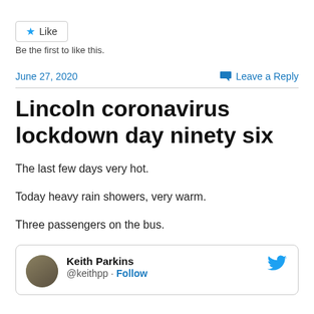[Figure (other): Like button with star icon and border]
Be the first to like this.
June 27, 2020
Leave a Reply
Lincoln coronavirus lockdown day ninety six
The last few days very hot.
Today heavy rain showers, very warm.
Three passengers on the bus.
Keith Parkins @keithpp · Follow